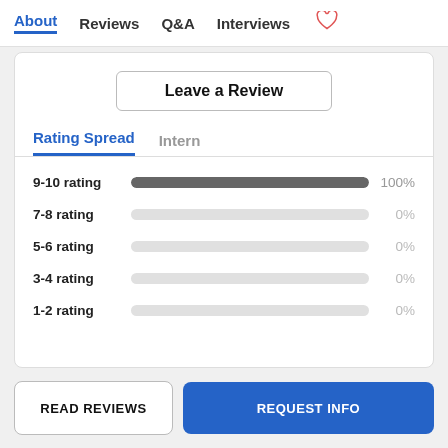About  Reviews  Q&A  Interviews
Leave a Review
Rating Spread   Intern
[Figure (bar-chart): Rating Spread]
READ REVIEWS
REQUEST INFO